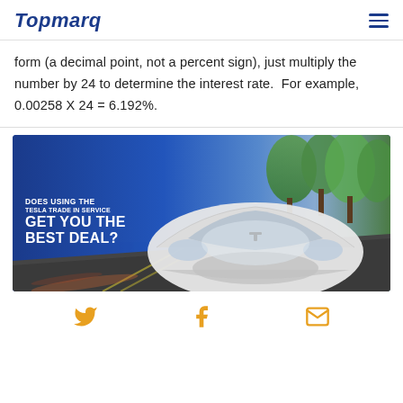Topmarq
form (a decimal point, not a percent sign), just multiply the number by 24 to determine the interest rate.  For example, 0.00258 X 24 = 6.192%.
[Figure (photo): Advertisement image showing a white Tesla car driving on a road with text: DOES USING THE TESLA TRADE IN SERVICE GET YOU THE BEST DEAL?]
Twitter, Facebook, Email social media icons